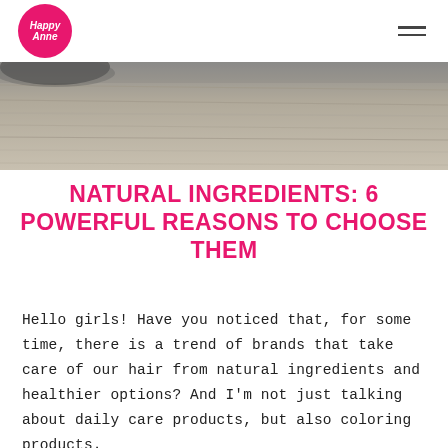Happy Anne logo and navigation
[Figure (photo): Close-up photo of gray wooden surface/floor texture, slightly blurred]
NATURAL INGREDIENTS: 6 POWERFUL REASONS TO CHOOSE THEM
Hello girls! Have you noticed that, for some time, there is a trend of brands that take care of our hair from natural ingredients and healthier options? And I'm not just talking about daily care products, but also coloring products.